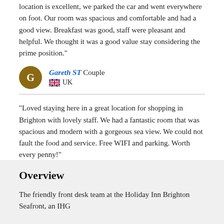location is excellent, we parked the car and went everywhere on foot. Our room was spacious and comfortable and had a good view. Breakfast was good, staff were pleasant and helpful. We thought it was a good value stay considering the prime position."
Gareth ST Couple
🇬🇧 UK
"Loved staying here in a great location for shopping in Brighton with lovely staff. We had a fantastic room that was spacious and modern with a gorgeous sea view. We could not fault the food and service. Free WIFI and parking. Worth every penny!"
Pansy Family Visit
🇬🇧 UK
Check availability
Overview
The friendly front desk team at the Holiday Inn Brighton Seafront, an IHG